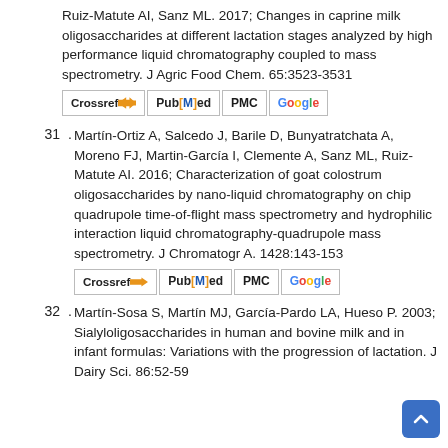Ruiz-Matute AI, Sanz ML. 2017; Changes in caprine milk oligosaccharides at different lactation stages analyzed by high performance liquid chromatography coupled to mass spectrometry. J Agric Food Chem. 65:3523-3531
[Figure (other): Row of citation badges: Crossref, PubMed, PMC, Google Scholar]
31. Martín-Ortiz A, Salcedo J, Barile D, Bunyatratchata A, Moreno FJ, Martin-García I, Clemente A, Sanz ML, Ruiz-Matute AI. 2016; Characterization of goat colostrum oligosaccharides by nano-liquid chromatography on chip quadrupole time-of-flight mass spectrometry and hydrophilic interaction liquid chromatography-quadrupole mass spectrometry. J Chromatogr A. 1428:143-153
[Figure (other): Row of citation badges: Crossref, PubMed, PMC, Google Scholar]
32. Martín-Sosa S, Martín MJ, García-Pardo LA, Hueso P. 2003; Sialyloligosaccharides in human and bovine milk and in infant formulas: Variations with the progression of lactation. J Dairy Sci. 86:52-59